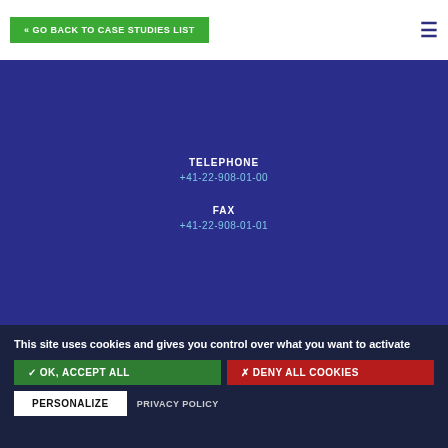« GO BACK TO CASE STUDIES LIST
TELEPHONE
+41-22-908-01-00
FAX
+41-22-908-01-01
This site uses cookies and gives you control over what you want to activate
✓ OK, ACCEPT ALL
✗ DENY ALL COOKIES
PERSONALIZE
PRIVACY POLICY